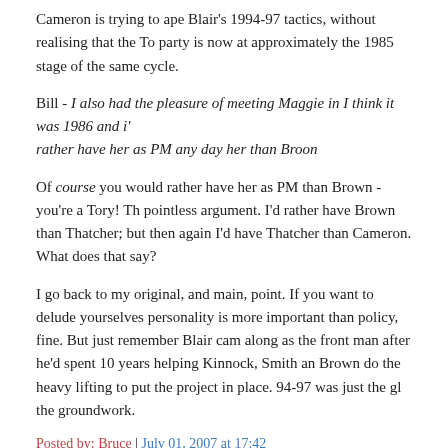Cameron is trying to ape Blair's 1994-97 tactics, without realising that the Tory party is now at approximately the 1985 stage of the same cycle.
Bill - I also had the pleasure of meeting Maggie in I think it was 1986 and i'd rather have her as PM any day her than Broon
Of course you would rather have her as PM than Brown - you're a Tory! That's a pointless argument. I'd rather have Brown than Thatcher; but then again I'd rather have Thatcher than Cameron. What does that say?
I go back to my original, and main, point. If you want to delude yourselves that personality is more important than policy, fine. But just remember Blair came along as the front man after he'd spent 10 years helping Kinnock, Smith and Brown do the heavy lifting to put the project in place. 94-97 was just the glossy the groundwork.
Posted by: Bruce | July 01, 2007 at 17:42
PS. Bill, meeting Maggie was in my case not really a pleasure - I found her hectoring and agressive, and not very interested in hearing opposing views. Sounds rather like some reports we hear of Brown, no?
Of course, I know several people who've met him and found him charming.
How they do the job - that's the point. We shall see.